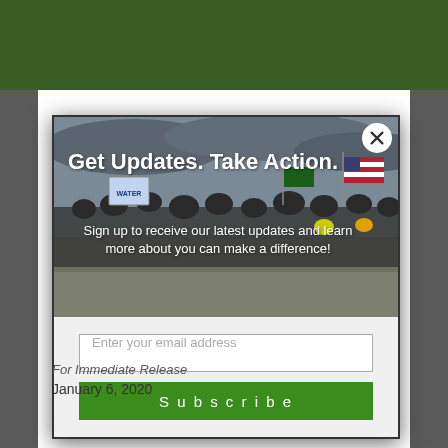[Figure (photo): A crowd of protesters marching outdoors in winter, carrying flags including the American flag and signs including one reading 'WATER'. The image is the background of a modal popup.]
Get Updates. Take Action.
Sign up to receive our latest updates and learn more about you can make a difference!
Enter your email address
Subscribe
For Immediate Release
January 6, 2020